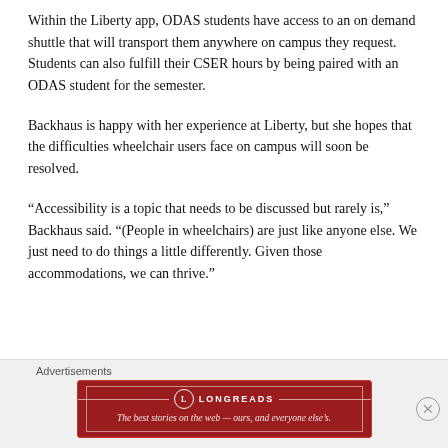Within the Liberty app, ODAS students have access to an on demand shuttle that will transport them anywhere on campus they request. Students can also fulfill their CSER hours by being paired with an ODAS student for the semester.
Backhaus is happy with her experience at Liberty, but she hopes that the difficulties wheelchair users face on campus will soon be resolved.
“Accessibility is a topic that needs to be discussed but rarely is,” Backhaus said. “(People in wheelchairs) are just like anyone else. We just need to do things a little differently. Given those accommodations, we can thrive.”
[Figure (infographic): Longreads advertisement banner with red background. Logo circle with L, two horizontal lines flanking 'LONGREADS' text, and italic tagline: The best stories on the web — ours, and everyone else’s.]